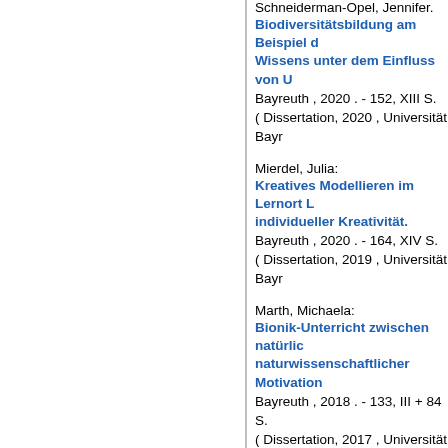Schneiderman-Opel, Jennifer:
Biodiversitätsbildung am Beispiel ... Wissens unter dem Einfluss von U...
Bayreuth , 2020 . - 152, XIII S.
( Dissertation, 2020 , Universität Bayr...
Mierdel, Julia:
Kreatives Modellieren im Lernort L... individueller Kreativität.
Bayreuth , 2020 . - 164, XIV S.
( Dissertation, 2019 , Universität Bayr...
Marth, Michaela:
Bionik-Unterricht zwischen natürlic... naturwissenschaftlicher Motivation...
Bayreuth , 2018 . - 133, III + 84 S.
( Dissertation, 2017 , Universität Bayr...
Bissinger, Kerstin:
Environmental Literacy : eine Stud... umweltbewusstem Verhalten.
Bayreuth , 2018 . - 121, V S.
( Dissertation, 2016 , Universität Bayr...
Calado, Florbela:
How Biology textbooks of two diffe...
Bayreuth , 2018 . - 149 S.
( Dissertation, 2018 , Universität Bayn...